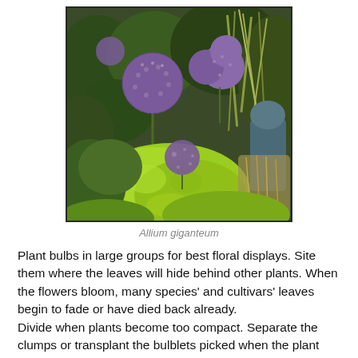[Figure (photo): Garden photo showing Allium giganteum plants with large purple spherical flower heads surrounded by green foliage and ornamental grasses]
Allium giganteum
Plant bulbs in large groups for best floral displays. Site them where the leaves will hide behind other plants. When the flowers bloom, many species' and cultivars' leaves begin to fade or have died back already.
Divide when plants become too compact. Separate the clumps or transplant the bulblets picked when the plant goes dormant.
Propagate by seed, but know this is a long term